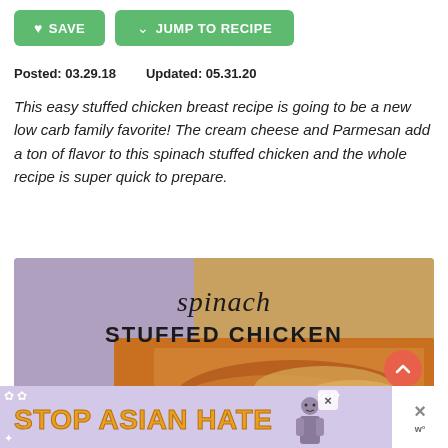♥ SAVE  ⌄ JUMP TO RECIPE
Posted: 03.29.18    Updated: 05.31.20
This easy stuffed chicken breast recipe is going to be a new low carb family favorite! The cream cheese and Parmesan add a ton of flavor to this spinach stuffed chicken and the whole recipe is super quick to prepare.
[Figure (photo): Food photo of spinach stuffed chicken in a baking dish with text overlay reading 'spinach STUFFED CHICKEN' and a scroll-up button]
[Figure (infographic): Advertisement banner with purple background reading 'STOP ASIAN HATE' in orange bold text with flower decorations and a cartoon figure]